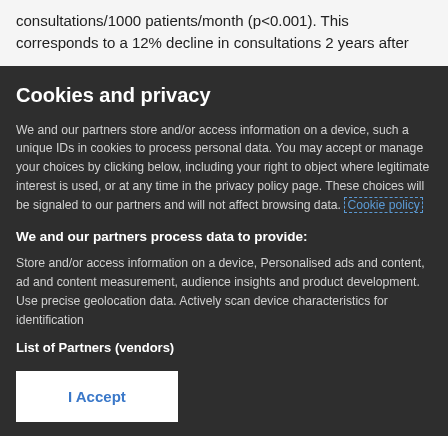consultations/1000 patients/month (p<0.001). This corresponds to a 12% decline in consultations 2 years after
Cookies and privacy
We and our partners store and/or access information on a device, such a unique IDs in cookies to process personal data. You may accept or manage your choices by clicking below, including your right to object where legitimate interest is used, or at any time in the privacy policy page. These choices will be signaled to our partners and will not affect browsing data. Cookie policy
We and our partners process data to provide:
Store and/or access information on a device, Personalised ads and content, ad and content measurement, audience insights and product development. Use precise geolocation data. Actively scan device characteristics for identification
List of Partners (vendors)
I Accept